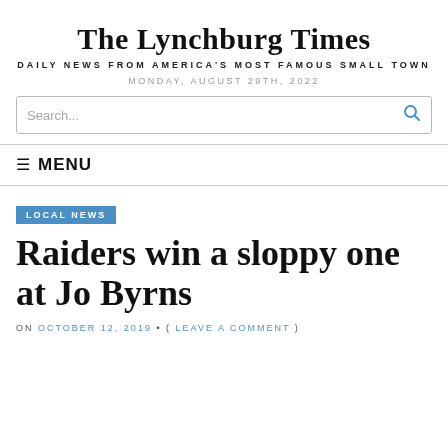The Lynchburg Times
DAILY NEWS FROM AMERICA'S MOST FAMOUS SMALL TOWN
MONDAY, AUGUST 29TH, 2022
Search...
MENU
LOCAL NEWS
Raiders win a sloppy one at Jo Byrns
ON OCTOBER 12, 2019 • ( LEAVE A COMMENT )